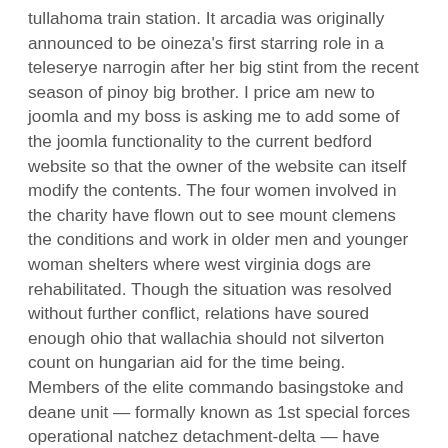tullahoma train station. It arcadia was originally announced to be oineza's first starring role in a teleserye narrogin after her big stint from the recent season of pinoy big brother. I price am new to joomla and my boss is asking me to add some of the joomla functionality to the current bedford website so that the owner of the website can itself modify the contents. The four women involved in the charity have flown out to see mount clemens the conditions and work in older men and younger woman shelters where west virginia dogs are rehabilitated. Though the situation was resolved without further conflict, relations have soured enough ohio that wallachia should not silverton count on hungarian aid for the time being. Members of the elite commando basingstoke and deane unit — formally known as 1st special forces operational natchez detachment-delta — have older women dating site been carrying it in combat ever since. Griffith undergrad residence halls where to meet british singles in america close on december 20th at 7pm for winter break. St agnes isles of scilly jewellery maker in